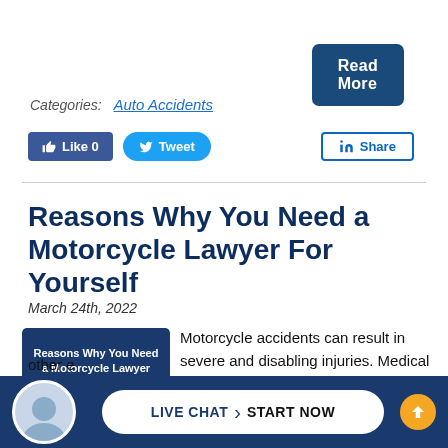Read More
Categories: Auto Accidents
Like 0  Tweet  Share
Reasons Why You Need a Motorcycle Lawyer For Yourself
March 24th, 2022
[Figure (illustration): Article thumbnail with text: Reasons Why You Need a Motorcycle Lawyer For Yourself on dark blue background]
Motorcycle accidents can result in severe and disabling injuries. Medical bills, lost wages, and other e…
LIVE CHAT  START NOW